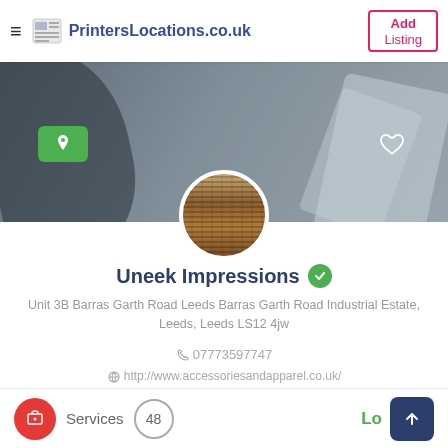PrintersLocations.co.uk — Add Listing
[Figure (photo): Hero banner image showing hands working with paper/printing materials, dark overlay, green location pin button on left and heart icon on right]
[Figure (photo): Circular profile image showing wood grain / stacked paper texture]
Uneek Impressions
Unit 3B Barras Garth Road Leeds Barras Garth Road Industrial Estate, Leeds, Leeds LS12 4jw
07773597747
http://www.accessoriesandapparel.co.uk/
john@uneekimpressions.co.uk
Services 48 Lo